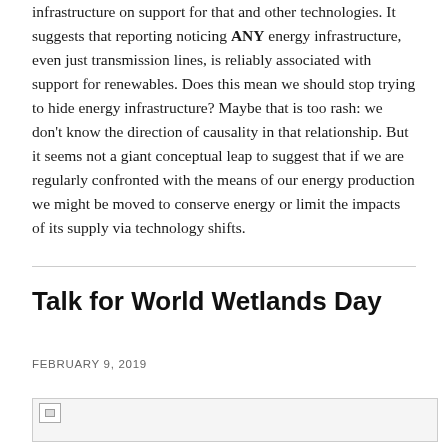infrastructure on support for that and other technologies. It suggests that reporting noticing ANY energy infrastructure, even just transmission lines, is reliably associated with support for renewables. Does this mean we should stop trying to hide energy infrastructure? Maybe that is too rash: we don't know the direction of causality in that relationship. But it seems not a giant conceptual leap to suggest that if we are regularly confronted with the means of our energy production we might be moved to conserve energy or limit the impacts of its supply via technology shifts.
Talk for World Wetlands Day
FEBRUARY 9, 2019
[Figure (photo): Broken image placeholder]